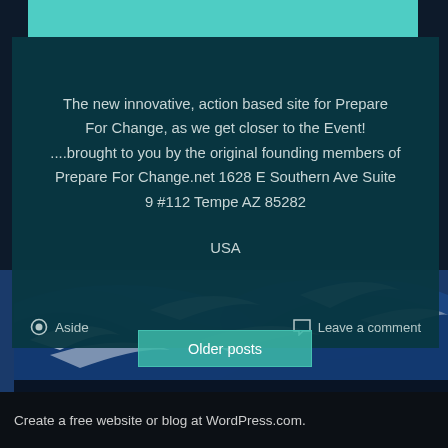[Figure (illustration): Ocean waves background image with teal/blue crashing waves, dark teal overlay card containing address text, and a teal navigation bar at top]
The new innovative, action based site for Prepare For Change, as we get closer to the Event! ....brought to you by the original founding members of Prepare For Change.net 1628 E Southern Ave Suite 9 #112 Tempe AZ 85282

USA
Aside
Leave a comment
Older posts
Create a free website or blog at WordPress.com.